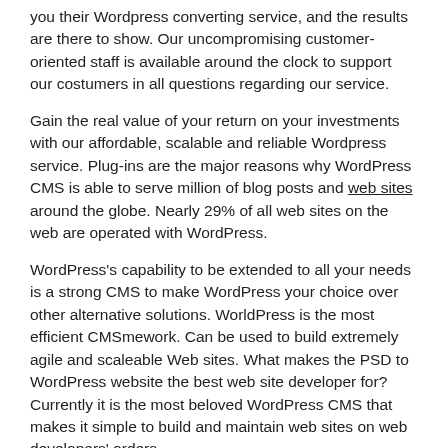you their Wordpress converting service, and the results are there to show. Our uncompromising customer-oriented staff is available around the clock to support our costumers in all questions regarding our service.
Gain the real value of your return on your investments with our affordable, scalable and reliable Wordpress service. Plug-ins are the major reasons why WordPress CMS is able to serve million of blog posts and web sites around the globe. Nearly 29% of all web sites on the web are operated with WordPress.
WordPress's capability to be extended to all your needs is a strong CMS to make WordPress your choice over other alternative solutions. WorldPress is the most efficient CMSmework. Can be used to build extremely agile and scaleable Web sites. What makes the PSD to WordPress website the best web site developer for? Currently it is the most beloved WordPress CMS that makes it simple to build and maintain web sites on web developers' orders.
Consequently, the need for PSD to WordPress converter service is growing at a very high speed. It is important to